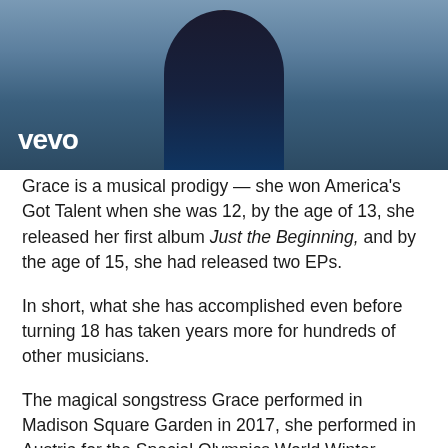[Figure (photo): Screenshot of a music video thumbnail from Vevo showing a person from the neck up against a blue-grey sky background, with the Vevo logo in the lower left corner.]
Grace is a musical prodigy — she won America's Got Talent when she was 12, by the age of 13, she released her first album Just the Beginning, and by the age of 15, she had released two EPs.
In short, what she has accomplished even before turning 18 has taken years more for hundreds of other musicians.
The magical songstress Grace performed in Madison Square Garden in 2017, she performed in Austria for the Special Olympics World Winter Games.
She also toured with the Imagine Dragons for their Evolve World Tour and opened a tour of Florence and the Machine. Grace was awarded the Billboard Women in Music Rising...